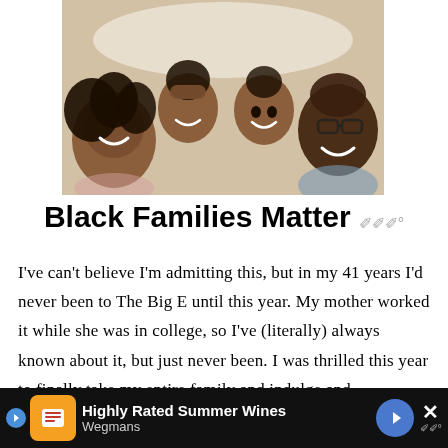[Figure (photo): Overhead view of a Black family of four lying on a bed, smiling up at the camera. A woman with curly hair on the left, two children in the middle, and a man wearing glasses on the right.]
Black Families Matter
I've can't believe I'm admitting this, but in my 41 years I'd never been to The Big E until this year. My mother worked it while she was in college, so I've (literally) always known about it, but just never been. I was thrilled this year to finally take my entire family and indulge and
[Figure (screenshot): Advertisement bar at the bottom: Wegmans ad reading 'Highly Rated Summer Wines' with Wegmans logo, navigation arrow button, and close button with small logo icon.]